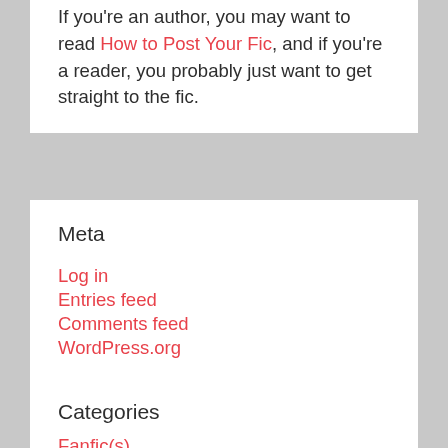If you're an author, you may want to read How to Post Your Fic, and if you're a reader, you probably just want to get straight to the fic.
Meta
Log in
Entries feed
Comments feed
WordPress.org
Categories
Fanfic(s)